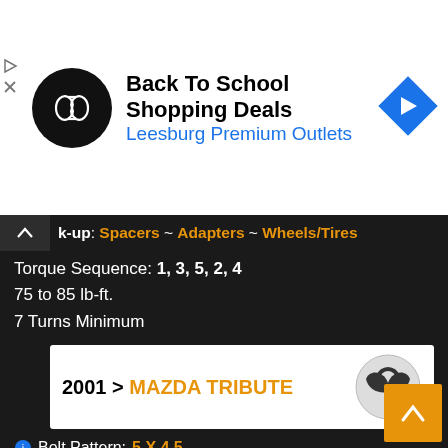[Figure (infographic): Ad banner: Back To School Shopping Deals at Leesburg Premium Outlets with logo and navigation icon]
Look-up: Spacers ~ Adapters ~ Wheels/Tires
Torque Sequence: 1, 3, 5, 2, 4
75 to 85 lb-ft.
7 Turns Minimum
2001 > MAZDA TRIBUTE
Bolt Pattern: 5 X 4.5
Stud Size: 12 X 1.5
Hub Center Bore: 67.1
> Bolt Pattern Details and Matching Vehicles
Look-up: Spacers ~ Adapters ~ Wheels/Tires
Torque Sequence: 1, 3, 5, 2, 4
75 to 85 lb-ft.
7 Turns Minimum